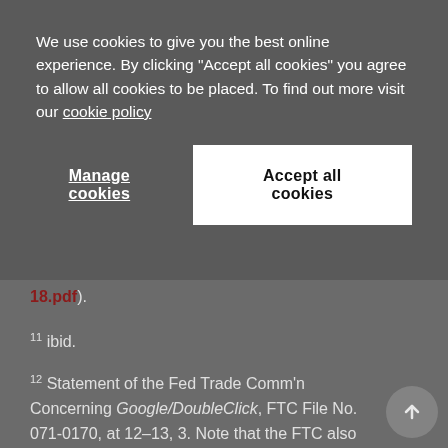We use cookies to give you the best online experience. By clicking "Accept all cookies" you agree to allow all cookies to be placed. To find out more visit our cookie policy
Manage cookies
Accept all cookies
18.pdf).
11 ibid.
12 Statement of the Fed Trade Comm'n Concerning Google/DoubleClick, FTC File No. 071-0170, at 12–13, 3. Note that the FTC also warned at the end of this analysis that: 'we want to be clear, however, that we will closely watch these markets and, should Google engage in unlawful tying or other